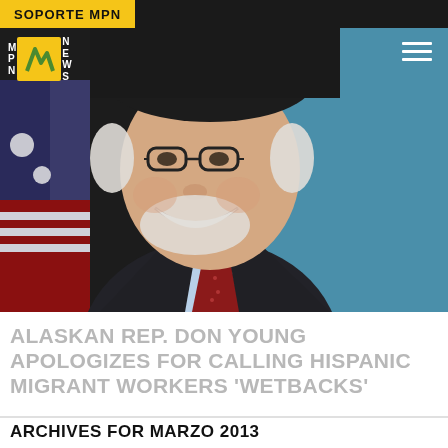SOPORTE MPN
[Figure (photo): Portrait photo of an elderly smiling man in a dark suit with red tie, an American flag behind him and teal background]
ALASKAN REP. DON YOUNG APOLOGIZES FOR CALLING HISPANIC MIGRANT WORKERS 'WETBACKS'
ARCHIVES FOR MARZO 2013